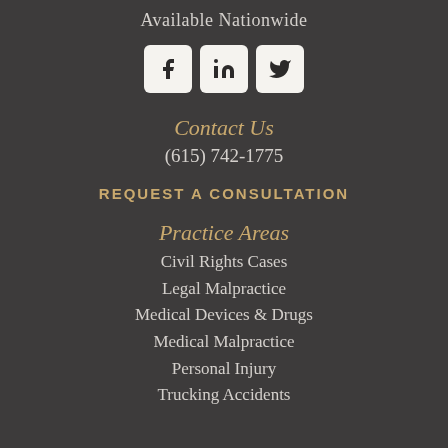Available Nationwide
[Figure (illustration): Three social media icon buttons: Facebook (f), LinkedIn (in), Twitter (bird icon), displayed as white rounded square buttons on dark background]
Contact Us
(615) 742-1775
REQUEST A CONSULTATION
Practice Areas
Civil Rights Cases
Legal Malpractice
Medical Devices & Drugs
Medical Malpractice
Personal Injury
Trucking Accidents